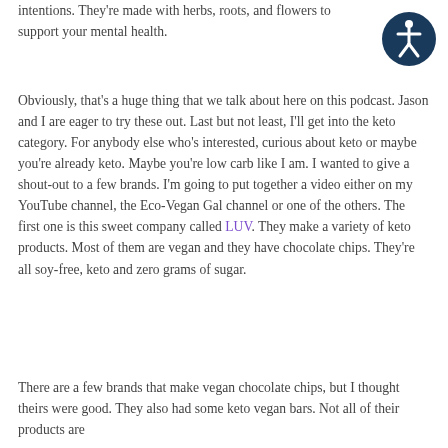intentions. They're made with herbs, roots, and flowers to support your mental health.
[Figure (illustration): Accessibility icon: circular dark blue badge with a white human figure (wheelchair accessibility symbol)]
Obviously, that's a huge thing that we talk about here on this podcast. Jason and I are eager to try these out. Last but not least, I'll get into the keto category. For anybody else who's interested, curious about keto or maybe you're already keto. Maybe you're low carb like I am. I wanted to give a shout-out to a few brands. I'm going to put together a video either on my YouTube channel, the Eco-Vegan Gal channel or one of the others. The first one is this sweet company called LUV. They make a variety of keto products. Most of them are vegan and they have chocolate chips. They're all soy-free, keto and zero grams of sugar.
There are a few brands that make vegan chocolate chips, but I thought theirs were good. They also had some keto vegan bars. Not all of their products are